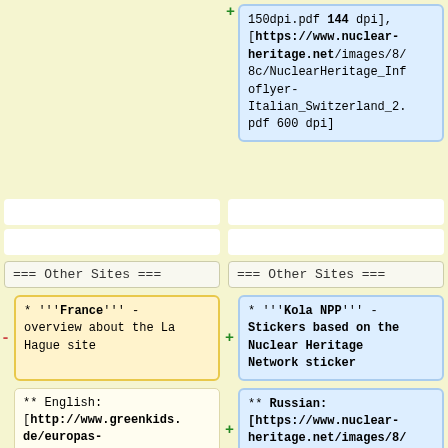+ 150dpi.pdf 144 dpi], [https://www.nuclear-heritage.net/images/8/8c/NuclearHeritage_Infoflyer-Italian_Switzerland_2.pdf 600 dpi]
=== Other Sites ===
=== Other Sites ===
* '''France''' - overview about the La Hague site
* '''Kola NPP''' - Stickers based on the Nuclear Heritage Network sticker
** English: [http://www.greenkids.de/europas-atomerbe/images/a/a4/N
** Russian: [https://www.nuclear-heritage.net/images/8/8f/Sticker_Russian.pdf